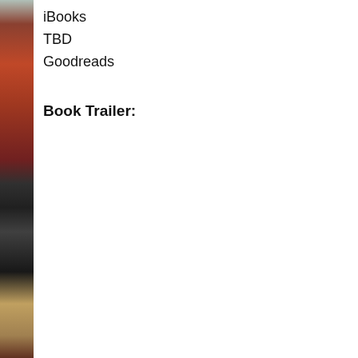[Figure (illustration): Left strip showing partial book cover images stacked vertically]
iBooks
TBD
Goodreads
Book Trailer: